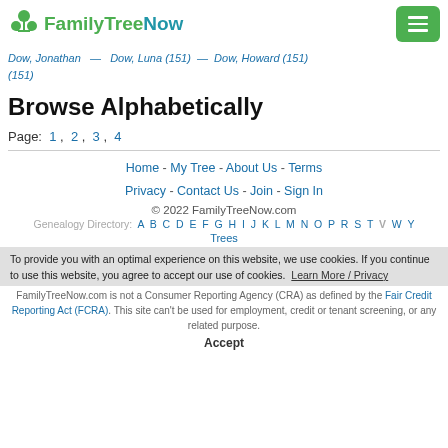FamilyTreeNow
Dow, Jonathan (151) — Dow, Luna (151) — Dow, Howard (151)
Browse Alphabetically
Page: 1 , 2 , 3 , 4
Home - My Tree - About Us - Terms
Privacy - Contact Us - Join - Sign In
© 2022 FamilyTreeNow.com
Genealogy Directory: A B C D E F G H I J K L M N O P R S T V W Y
Trees
FamilyTreeNow.com is not a Consumer Reporting Agency (CRA) as defined by the Fair Credit Reporting Act (FCRA). This site can't be used for employment, credit or tenant screening, or any related purpose.